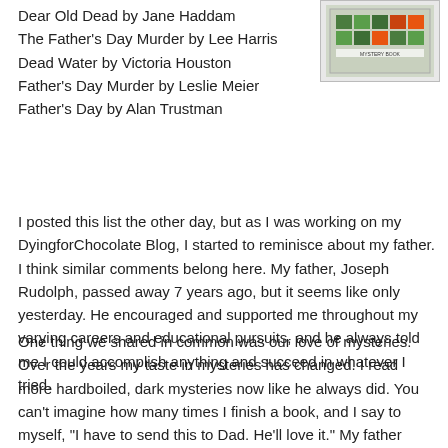Dear Old Dead by Jane Haddam
The Father's Day Murder by Lee Harris
Dead Water by Victoria Houston
Father's Day Murder by Leslie Meier
Father's Day by Alan Trustman
[Figure (photo): Book cover or product image thumbnail in upper right corner]
I posted this list the other day, but as I was working on my DyingforChocolate Blog, I started to reminisce about my father. I think similar comments belong here. My father, Joseph Rudolph, passed away 7 years ago, but it seems like only yesterday. He encouraged and supported me throughout my varying careers and educational pursuits, and he always told me I could accomplish anything and succeed in whatever I tried.
One thing we shared in common was our love of mysteries. Over the years my taste in mysteries has changed. I read more hardboiled, dark mysteries now like he always did. You can't imagine how many times I finish a book, and I say to myself, "I have to send this to Dad. He'll love it." My father engendered a love of mysteries in me through his collection of mystery novels and Ellery Queen Magazines.